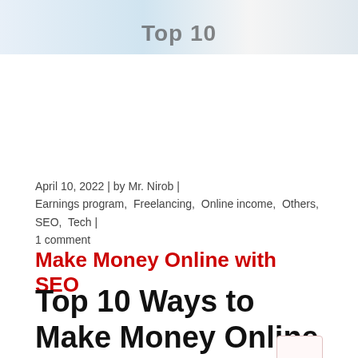[Figure (photo): Partial banner image showing a person smiling, with partially visible bold text 'Top 10' overlaid on a light blue/white background]
April 10, 2022 | by Mr. Nirob | Earnings program, Freelancing, Online income, Others, SEO, Tech | 1 comment
Make Money Online with SEO
Top 10 Ways to Make Money Online with SEO: